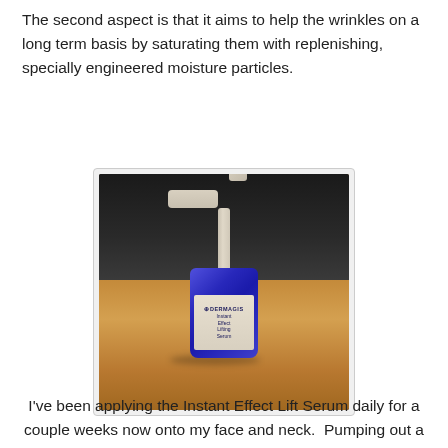The second aspect is that it aims to help the wrinkles on a long term basis by saturating them with replenishing, specially engineered moisture particles.
[Figure (photo): A small blue glass spray/pump bottle of Dermagist Instant Effect Lifting Serum sitting on a wooden surface with a dark background. The bottle has a white/beige pump dispenser on top.]
I've been applying the Instant Effect Lift Serum daily for a couple weeks now onto my face and neck.  Pumping out a